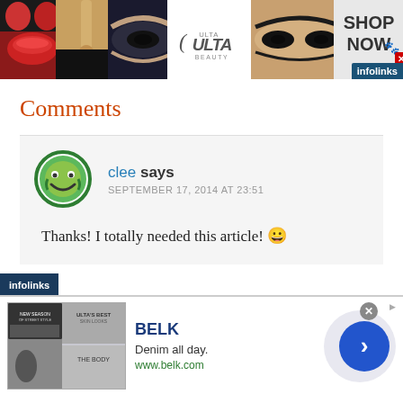[Figure (screenshot): Top banner advertisement for Ulta Beauty showing makeup close-up images (lips, brush, eye) and Ulta logo with 'SHOP NOW' call to action and infolinks badge]
Comments
clee says
SEPTEMBER 17, 2014 AT 23:51
Thanks! I totally needed this article! 😀
[Figure (screenshot): Bottom advertisement for Belk showing denim clothing images, BELK title, 'Denim all day.' and www.belk.com URL, with navigation arrow button]